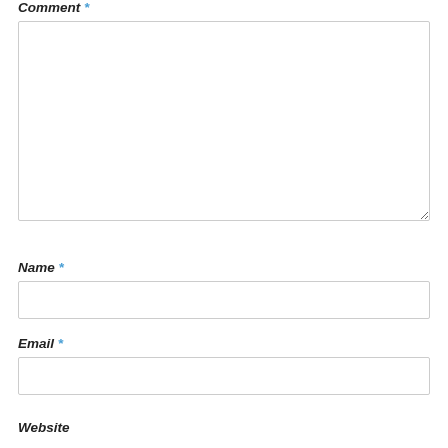Comment *
[Figure (other): Large empty textarea input box for comment]
Name *
[Figure (other): Single-line text input box for name]
Email *
[Figure (other): Single-line text input box for email]
Website